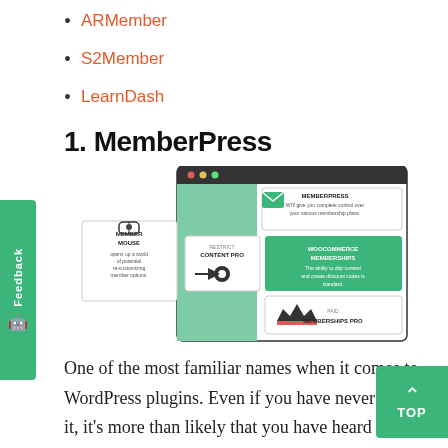ARMember
S2Member
LearnDash
1. MemberPress
[Figure (infographic): Infographic showing MemberPress plugin comparison with other WordPress membership plugins: MemberMouse, Restrict Content Pro, WooCommerce Memberships, Paid Memberships Pro, all shown in a browser window mockup with green and white cards.]
One of the most familiar names when it comes to WordPress plugins. Even if you have never used it, it's more than likely that you have heard of it which, of course, there are plenty of